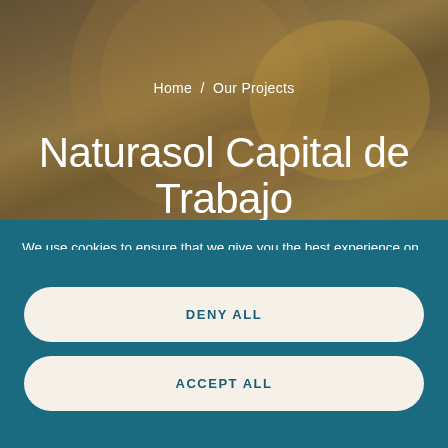[Figure (photo): Background photo of beekeeping — hands in gloves working with honeycomb and beehive frames, warm golden tones with dark overlay]
Home / Our Projects
Naturasol Capital de Trabajo
We use cookies to ensure that we give you the best experience on our website. If you continue to use this site we will assume that you are happy with it.
Privacy policy
Cookie settings
DENY ALL
ACCEPT ALL